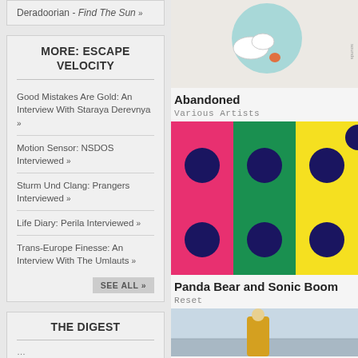Deradoorian - Find The Sun »
MORE: ESCAPE VELOCITY
Good Mistakes Are Gold: An Interview With Staraya Derevnya »
Motion Sensor: NSDOS Interviewed »
Sturm Und Clang: Prangers Interviewed »
Life Diary: Perila Interviewed »
Trans-Europe Finesse: An Interview With The Umlauts »
SEE ALL »
[Figure (illustration): Album art for Abandoned by Various Artists — light blue circular shape with illustrated bird/floral elements on white background]
Abandoned
Various Artists
[Figure (illustration): Album art for Reset by Panda Bear and Sonic Boom — colorful polka dot pattern with pink, green, and yellow vertical stripes with dark blue dots]
Panda Bear and Sonic Boom
Reset
[Figure (photo): Partial album art — person in yellow jacket standing near water/ocean, cropped at bottom of page]
THE DIGEST
...